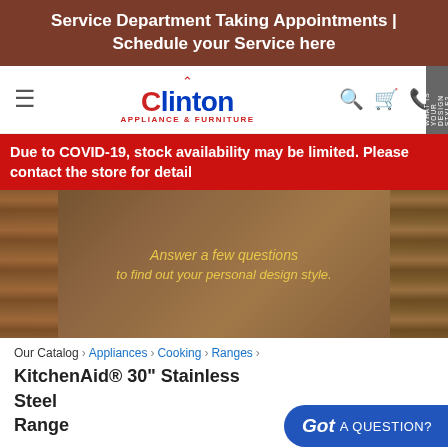Service Department Taking Appointments | Schedule your Service here
[Figure (logo): Clinton Appliance & Furniture logo with red house icon and blue text]
Due to COVID-19, stock availability may be limited. Please contact the store for details
[Figure (photo): Interior room scene with brown curtains; text overlay: Answer a few questions to find out your personal design style.]
Our Catalog › Appliances › Cooking › Ranges ›
KitchenAid® 30" Stainless Steel Range